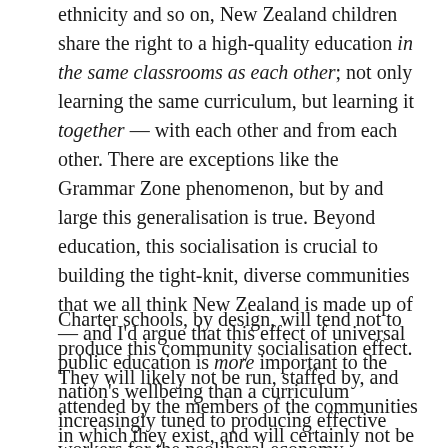ethnicity and so on, New Zealand children share the right to a high-quality education in the same classrooms as each other; not only learning the same curriculum, but learning it together — with each other and from each other. There are exceptions like the Grammar Zone phenomenon, but by and large this generalisation is true. Beyond education, this socialisation is crucial to building the tight-knit, diverse communities that we all think New Zealand is made up of — and I'd argue that this effect of universal public education is more important to the nation's wellbeing than a curriculum increasingly tuned to producing effective workers for the neoliberal economy.
Charter schools, by design, will tend not to produce this community socialisation effect. They will likely not be run, staffed by, and attended by the members of the communities in which they exist, and will certainly not be ubiquitous within those communities. Due to their special character and possible discretion in granting admissions, pupils at these